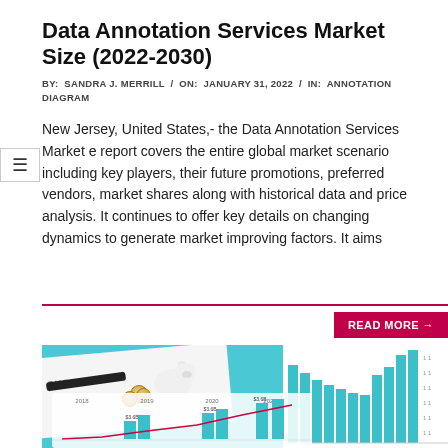Data Annotation Services Market Size (2022-2030)
BY: SANDRA J. MERRILL / ON: JANUARY 31, 2022 / IN: ANNOTATION DIAGRAM
New Jersey, United States,- the Data Annotation Services Market e report covers the entire global market scenario including key players, their future promotions, preferred vendors, market shares along with historical data and price analysis. It continues to offer key details on changing dynamics to generate market improving factors. It aims
READ MORE →
[Figure (photo): Photo showing a notebook with 'SUCCESS' text, a pen, coins, a piggy bank, and bar/line charts on a blue background]